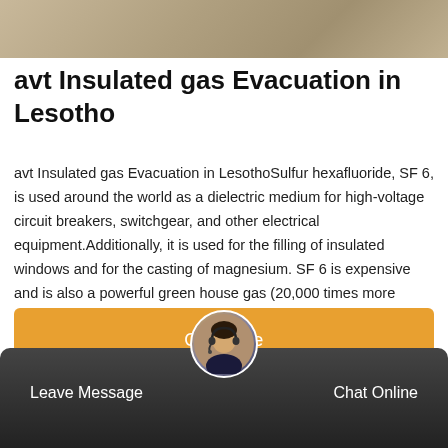[Figure (photo): Top portion of a photo showing industrial or engineering equipment with a beige/tan metallic surface texture]
avt Insulated gas Evacuation in Lesotho
avt Insulated gas Evacuation in LesothoSulfur hexafluoride, SF 6, is used around the world as a dielectric medium for high-voltage circuit breakers, switchgear, and other electrical equipment.Additionally, it is used for the filling of insulated windows and for the casting of magnesium. SF 6 is expensive and is also a powerful green house gas (20,000 times more potent than CO 2). GENERON membranes allow SF 6 to be retained at
[Figure (other): Orange/amber Get Price button bar]
[Figure (photo): Footer bar with dark background showing a customer service representative avatar with headset, Leave Message on the left and Chat Online on the right]